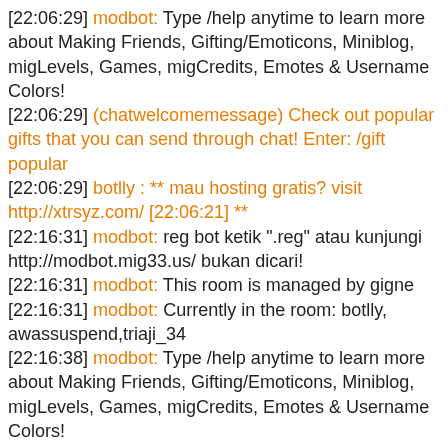[22:06:29] modbot: Type /help anytime to learn more about Making Friends, Gifting/Emoticons, Miniblog, migLevels, Games, migCredits, Emotes & Username Colors!
[22:06:29] (chatwelcomemessage) Check out popular gifts that you can send through chat! Enter: /gift popular
[22:06:29] botlly : ** mau hosting gratis? visit http://xtrsyz.com/ [22:06:21] **
[22:16:31] modbot: reg bot ketik ".reg" atau kunjungi http://modbot.mig33.us/ bukan dicari!
[22:16:31] modbot: This room is managed by gigne
[22:16:31] modbot: Currently in the room: botlly, awassuspend,triaji_34
[22:16:38] modbot: Type /help anytime to learn more about Making Friends, Gifting/Emoticons, Miniblog, migLevels, Games, migCredits, Emotes & Username Colors!
[22:16:38] (chatwelcomemessage) Try This: There are lots of games to play on chat. Check out what's available by entering: /games
[22:16:38] botlly : ** Free DNS Service http://manage.xtrsyz.org/ [22:16:30] **
[22:26:40] modbot: This room is managed by gigne
[22:26:40] modbot: Currently in the room: botlly,